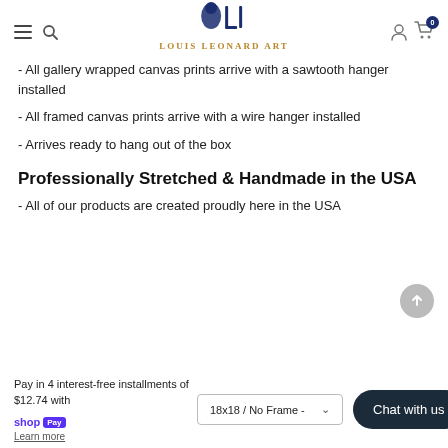Louis Leonard Art
- All gallery wrapped canvas prints arrive with a sawtooth hanger installed
- All framed canvas prints arrive with a wire hanger installed
- Arrives ready to hang out of the box
Professionally Stretched & Handmade in the USA
- All of our products are created proudly here in the USA
Pay in 4 interest-free installments of $12.74 with shop Pay Learn more
18x18 / No Frame -
Chat with us